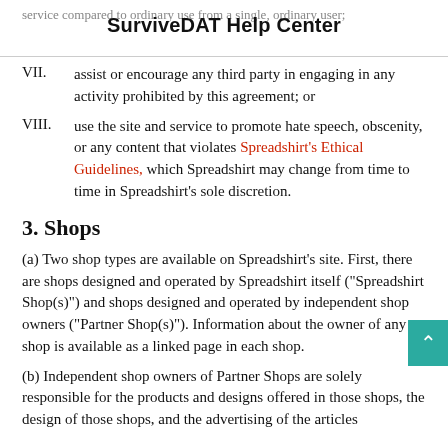SurviveDAT Help Center
VII. assist or encourage any third party in engaging in any activity prohibited by this agreement; or
VIII. use the site and service to promote hate speech, obscenity, or any content that violates Spreadshirt's Ethical Guidelines, which Spreadshirt may change from time to time in Spreadshirt's sole discretion.
3. Shops
(a) Two shop types are available on Spreadshirt's site. First, there are shops designed and operated by Spreadshirt itself ("Spreadshirt Shop(s)") and shops designed and operated by independent shop owners ("Partner Shop(s)"). Information about the owner of any shop is available as a linked page in each shop.
(b) Independent shop owners of Partner Shops are solely responsible for the products and designs offered in those shops, the design of those shops, and the advertising of the articles